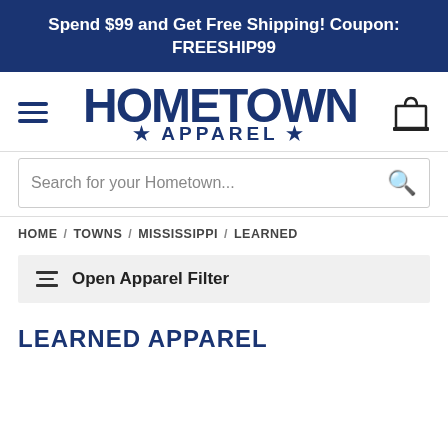Spend $99 and Get Free Shipping! Coupon: FREESHIP99
[Figure (logo): Hometown Apparel logo with hamburger menu icon on left and shopping bag icon on right]
Search for your Hometown...
HOME / TOWNS / MISSISSIPPI / LEARNED
Open Apparel Filter
LEARNED APPAREL